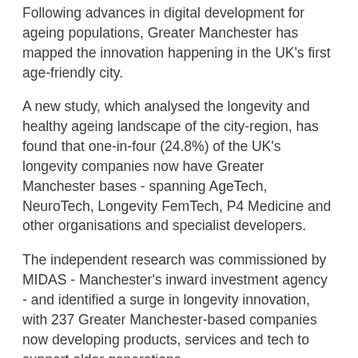Following advances in digital development for ageing populations, Greater Manchester has mapped the innovation happening in the UK's first age-friendly city.
A new study, which analysed the longevity and healthy ageing landscape of the city-region, has found that one-in-four (24.8%) of the UK's longevity companies now have Greater Manchester bases - spanning AgeTech, NeuroTech, Longevity FemTech, P4 Medicine and other organisations and specialist developers.
The independent research was commissioned by MIDAS - Manchester's inward investment agency - and identified a surge in longevity innovation, with 237 Greater Manchester-based companies now developing products, services and tech to support older generations.
Greater Manchester – which became the first UK city-